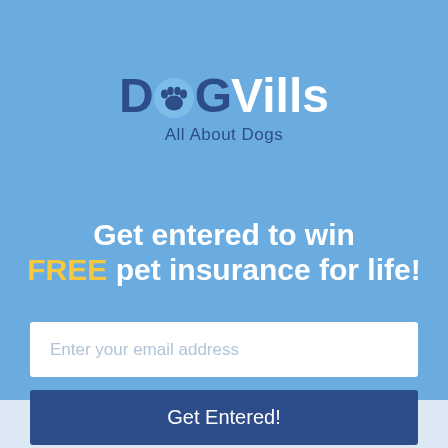[Figure (logo): DogVills logo with paw print replacing the 'o' in 'Dog', tagline 'All About Dogs']
Get entered to win FREE pet insurance for life!
Enter your email address
Get Entered!